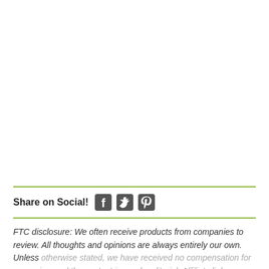Share on Social!
FTC disclosure: We often receive products from companies to review. All thoughts and opinions are always entirely our own. Unless otherwise stated, we have received no compensation for our review and the content is purely editorial. Affiliate links may be included. If you purchase something through one of those links we may receive